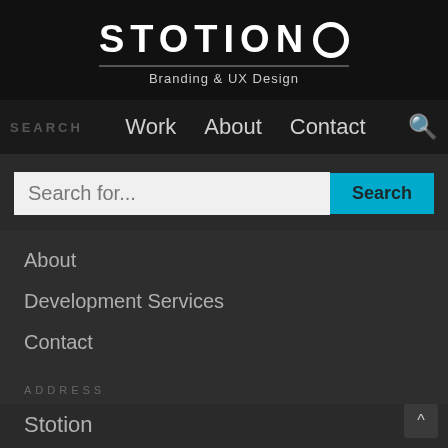STOTION O — Branding & UX Design
SEARCH  Work  About  Contact
Search for...
About
Development Services
Contact
ADDRESS
Stotion